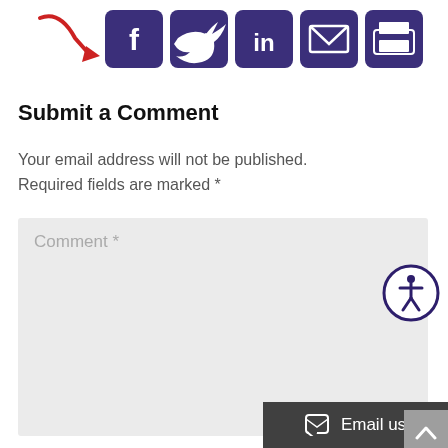[Figure (screenshot): Social media share icons row: Facebook, Twitter, LinkedIn, Email, Print, Pinterest — dark purple rounded square buttons with white icons. A red arrow points toward them from the left.]
Submit a Comment
Your email address will not be published.
Required fields are marked *
[Figure (screenshot): Comment form textarea with placeholder text 'Comment *' on a light grey background, with a resize handle at the bottom right and an accessibility icon (person in circle) overlapping the top-right corner.]
[Figure (screenshot): Name input field with placeholder text 'Name *' on a light grey background.]
[Figure (screenshot): Dark grey 'Email us' button bar at the bottom right with a speech bubble icon.]